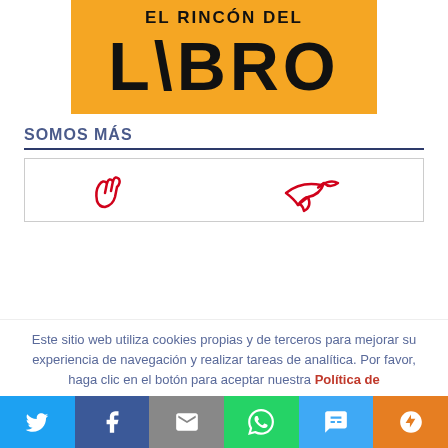[Figure (logo): El Rincón del Libro logo: yellow/orange background with bold black text 'EL RINCÓN DEL' on top and large 'LIBRO' below]
SOMOS MÁS
[Figure (illustration): Two red hand-drawn icons inside a bordered box — left appears to be a hand/writing gesture, right appears to be a bird or arrow shape]
Este sitio web utiliza cookies propias y de terceros para mejorar su experiencia de navegación y realizar tareas de analítica. Por favor, haga clic en el botón para aceptar nuestra Política de
[Figure (infographic): Social sharing bar with Twitter, Facebook, Email, WhatsApp, SMS, and More buttons]